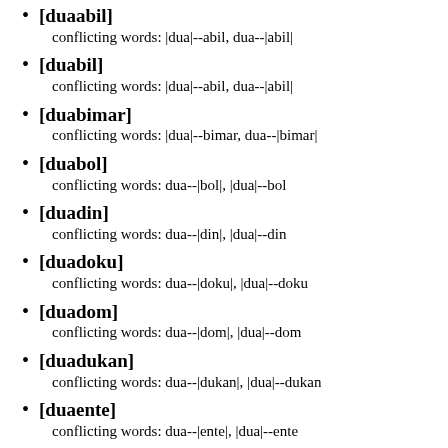[duaabil]
conflicting words: |dua|--abil, dua--|abil|
[duabil]
conflicting words: |dua|--abil, dua--|abil|
[duabimar]
conflicting words: |dua|--bimar, dua--|bimar|
[duabol]
conflicting words: dua--|bol|, |dua|--bol
[duadin]
conflicting words: dua--|din|, |dua|--din
[duadoku]
conflicting words: dua--|doku|, |dua|--doku
[duadom]
conflicting words: dua--|dom|, |dua|--dom
[duadukan]
conflicting words: dua--|dukan|, |dua|--dukan
[duaente]
conflicting words: dua--|ente|, |dua|--ente
[duafobi]